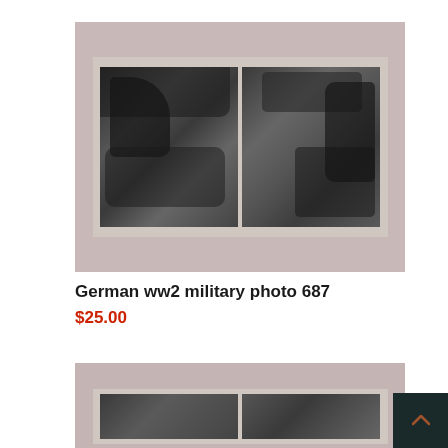[Figure (photo): Black and white photograph showing two side-by-side small photos mounted on a white card, depicting German WW2 soldiers with military equipment in a field setting]
German ww2 military photo 687
$25.00
[Figure (photo): Partial view of another similar black and white photograph at the bottom of the page, partially cropped]